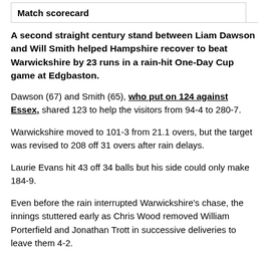Match scorecard
A second straight century stand between Liam Dawson and Will Smith helped Hampshire recover to beat Warwickshire by 23 runs in a rain-hit One-Day Cup game at Edgbaston.
Dawson (67) and Smith (65), who put on 124 against Essex, shared 123 to help the visitors from 94-4 to 280-7.
Warwickshire moved to 101-3 from 21.1 overs, but the target was revised to 208 off 31 overs after rain delays.
Laurie Evans hit 43 off 34 balls but his side could only make 184-9.
Even before the rain interrupted Warwickshire's chase, the innings stuttered early as Chris Wood removed William Porterfield and Jonathan Trott in successive deliveries to leave them 4-2.